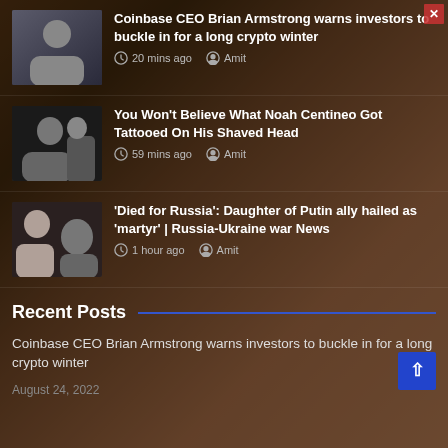[Figure (photo): Thumbnail of Coinbase CEO Brian Armstrong, man in black t-shirt]
Coinbase CEO Brian Armstrong warns investors to buckle in for a long crypto winter
⏱ 20 mins ago  👤 Amit
[Figure (photo): Thumbnail of Noah Centineo, man in black hoodie]
You Won't Believe What Noah Centineo Got Tattooed On His Shaved Head
⏱ 59 mins ago  👤 Amit
[Figure (photo): Thumbnail showing Daria Dugina and her father, two people]
'Died for Russia': Daughter of Putin ally hailed as 'martyr' | Russia-Ukraine war News
⏱ 1 hour ago  👤 Amit
Recent Posts
Coinbase CEO Brian Armstrong warns investors to buckle in for a long crypto winter
August 24, 2022